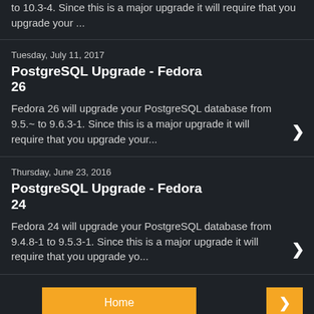to 10.3-4. Since this is a major upgrade it will require that you upgrade your ...
Tuesday, July 11, 2017
PostgreSQL Upgrade - Fedora 26
Fedora 26 will upgrade your PostgreSQL database from 9.5.~ to 9.6.3-1. Since this is a major upgrade it will require that you upgrade your...
Thursday, June 23, 2016
PostgreSQL Upgrade - Fedora 24
Fedora 24 will upgrade your PostgreSQL database from 9.4.8-1 to 9.5.3-1. Since this is a major upgrade it will require that you upgrade yo...
Home
View web version